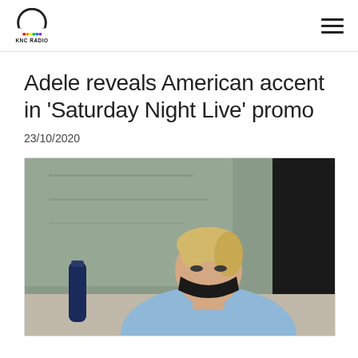KNC RADIO
Adele reveals American accent in 'Saturday Night Live' promo
23/10/2020
[Figure (photo): A blonde woman wearing a black face mask and a light blue denim jacket sits at a table with a microphone and a dark blue water bottle, looking downward. The background shows a blurred stone wall and dark area.]